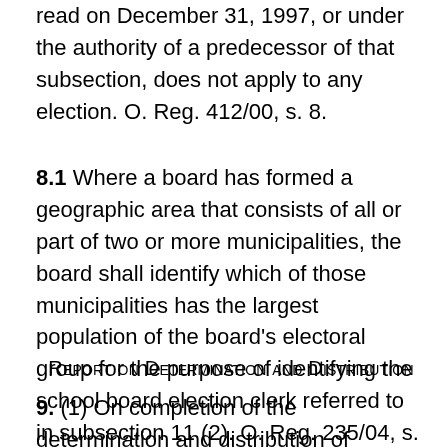read on December 31, 1997, or under the authority of a predecessor of that subsection, does not apply to any election.  O. Reg. 412/00, s. 8.
8.1 Where a board has formed a geographic area that consists of all or part of two or more municipalities, the board shall identify which of those municipalities has the largest population of the board's electoral group for the purpose of identifying the school board election clerk referred to in subsection 11 (2).  O. Reg. 235/04, s. 1.
Report on Determination and Distribution
9. (1) On completion of the determination and distribution of members of the board, the board shall prepare a report that includes